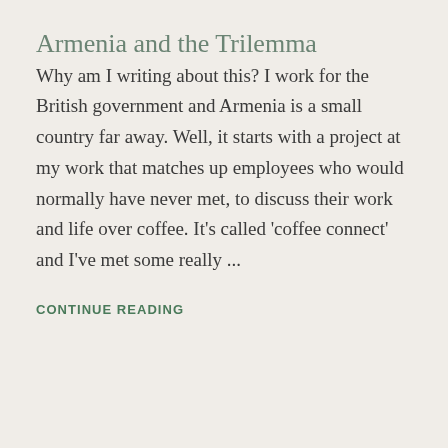Armenia and the Trilemma
Why am I writing about this? I work for the British government and Armenia is a small country far away. Well, it starts with a project at my work that matches up employees who would normally have never met, to discuss their work and life over coffee. It's called 'coffee connect' and I've met some really ...
CONTINUE READING